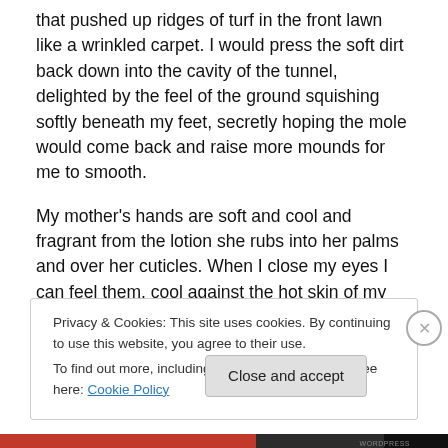that pushed up ridges of turf in the front lawn like a wrinkled carpet. I would press the soft dirt back down into the cavity of the tunnel, delighted by the feel of the ground squishing softly beneath my feet, secretly hoping the mole would come back and raise more mounds for me to smooth.
My mother's hands are soft and cool and fragrant from the lotion she rubs into her palms and over her cuticles. When I close my eyes I can feel them, cool against the hot skin of my back, or smoothing my hair, or cupping my face.
Privacy & Cookies: This site uses cookies. By continuing to use this website, you agree to their use. To find out more, including how to control cookies, see here: Cookie Policy